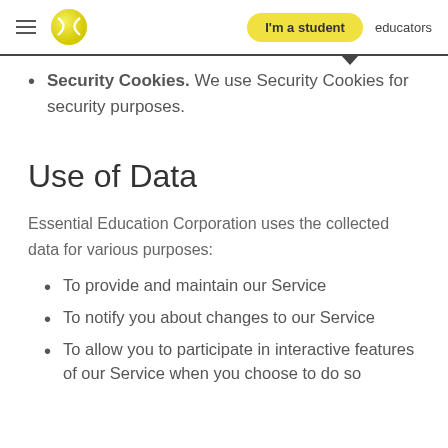I'm a student | educators
Security Cookies. We use Security Cookies for security purposes.
Use of Data
Essential Education Corporation uses the collected data for various purposes:
To provide and maintain our Service
To notify you about changes to our Service
To allow you to participate in interactive features of our Service when you choose to do so